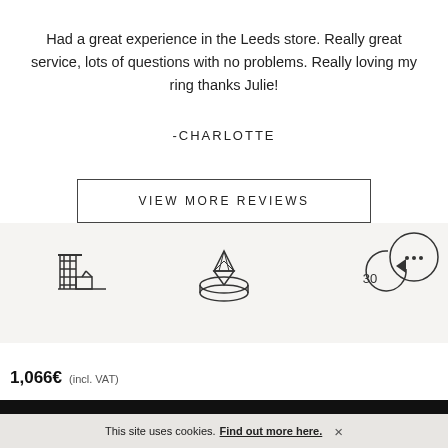Had a great experience in the Leeds store. Really great service, lots of questions with no problems. Really loving my ring thanks Julie!
-CHARLOTTE
VIEW MORE REVIEWS
[Figure (illustration): Store icon, ring icon, and 30-day return icon illustrations on a light beige background, with a chat bubble icon in the top right corner]
1,066€ (incl. VAT)
This site uses cookies. Find out more here.